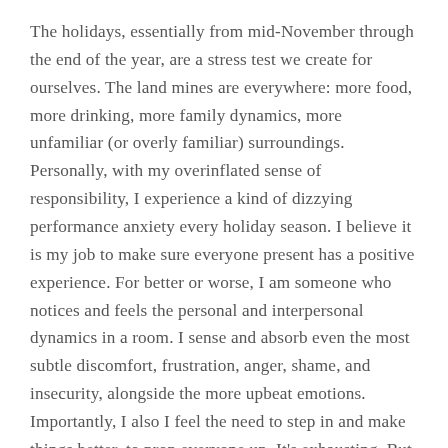The holidays, essentially from mid-November through the end of the year, are a stress test we create for ourselves. The land mines are everywhere: more food, more drinking, more family dynamics, more unfamiliar (or overly familiar) surroundings. Personally, with my overinflated sense of responsibility, I experience a kind of dizzying performance anxiety every holiday season. I believe it is my job to make sure everyone present has a positive experience. For better or worse, I am someone who notices and feels the personal and interpersonal dynamics in a room. I sense and absorb even the most subtle discomfort, frustration, anger, shame, and insecurity, alongside the more upbeat emotions. Importantly, I also I feel the need to step in and make things better, to prop everyone up. It's exhausting. But MS reminds me of how absurd, and even egotistical, this is. In truth, I can't possibly care for everyone. Neither can you.